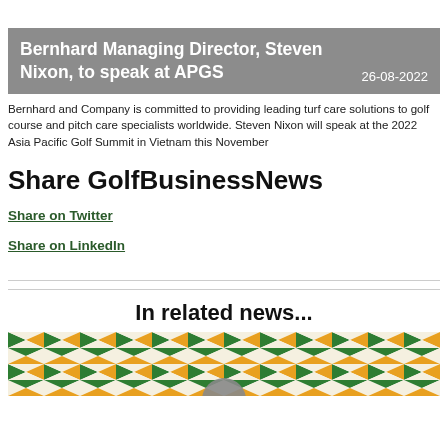Bernhard Managing Director, Steven Nixon, to speak at APGS 26-08-2022
Bernhard and Company is committed to providing leading turf care solutions to golf course and pitch care specialists worldwide. Steven Nixon will speak at the 2022 Asia Pacific Golf Summit in Vietnam this November
Share GolfBusinessNews
Share on Twitter
Share on LinkedIn
In related news...
[Figure (illustration): Decorative geometric diamond/triangle pattern in green, orange, and cream colors]